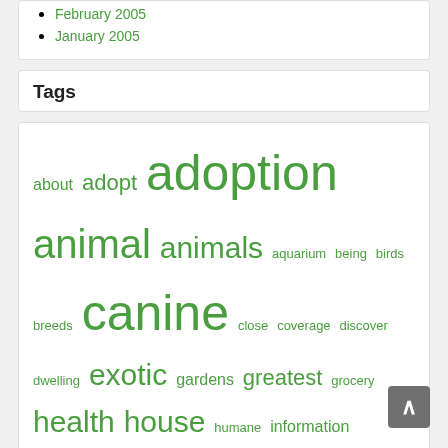February 2005
January 2005
Tags
about adopt adoption animal animals aquarium being birds breeds canine close coverage discover dwelling exotic gardens greatest grocery health house humane information insurance meals online petfinder provide provides puppies reptile reptiles rescue retailer search secret shelter society store supplies treats undertake unique veterinarian veterinary welcome
| M | T | W | T | F | S | S |
| --- | --- | --- | --- | --- | --- | --- |
|  |  |  | 1 | 2 | 3 | 4 |